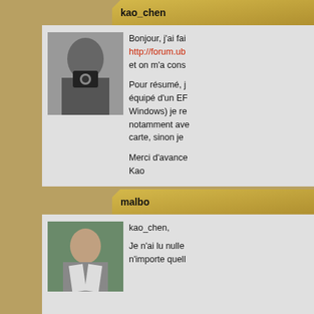kao_chen
Bonjour, j'ai fai http://forum.ube et on m'a cons

Pour résumé, j équipé d'un EF Windows) je re notamment ave carte, sinon je

Merci d'avance Kao
malbo
kao_chen,
Je n'ai lu nulle n'importe quell